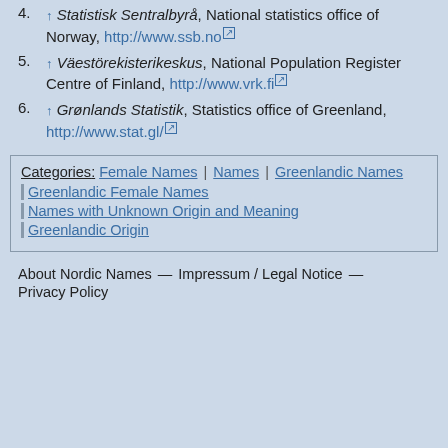4. ↑ Statistisk Sentralbyrå, National statistics office of Norway, http://www.ssb.no
5. ↑ Väestörekisterikeskus, National Population Register Centre of Finland, http://www.vrk.fi
6. ↑ Grønlands Statistik, Statistics office of Greenland, http://www.stat.gl/
| Categories: Female Names | Names | Greenlandic Names |
| Greenlandic Female Names |
| Names with Unknown Origin and Meaning |
| Greenlandic Origin |
About Nordic Names — Impressum / Legal Notice — Privacy Policy